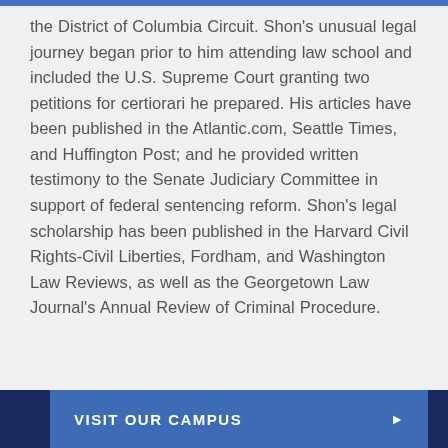the District of Columbia Circuit. Shon's unusual legal journey began prior to him attending law school and included the U.S. Supreme Court granting two petitions for certiorari he prepared. His articles have been published in the Atlantic.com, Seattle Times, and Huffington Post; and he provided written testimony to the Senate Judiciary Committee in support of federal sentencing reform. Shon's legal scholarship has been published in the Harvard Civil Rights-Civil Liberties, Fordham, and Washington Law Reviews, as well as the Georgetown Law Journal's Annual Review of Criminal Procedure.
VISIT OUR CAMPUS